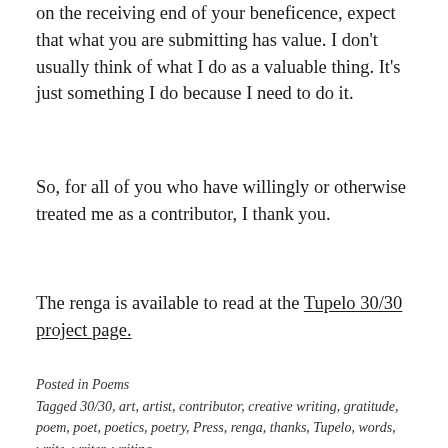on the receiving end of your beneficence, expect that what you are submitting has value. I don't usually think of what I do as a valuable thing. It's just something I do because I need to do it.
So, for all of you who have willingly or otherwise treated me as a contributor, I thank you.
The renga is available to read at the Tupelo 30/30 project page.
Posted in Poems
Tagged 30/30, art, artist, contributor, creative writing, gratitude, poem, poet, poetics, poetry, Press, renga, thanks, Tupelo, words, write, writer, writing